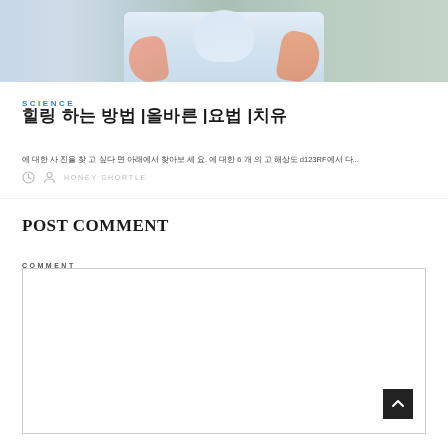[Figure (photo): Cropped photo of a person wearing a light blue striped short-sleeve shirt, outdoors with greenery in the background]
SCIENCE
힐링 하는 방법 |올바른 |요법 |치유
에 대한 사 진을 찾 고 싶다 면 아래에서 찾아보 세 요. 에 대한 6 개 의 고 해상도 d123RF에서 다...
HONEY SHORTLE
POST COMMENT
COMMENT